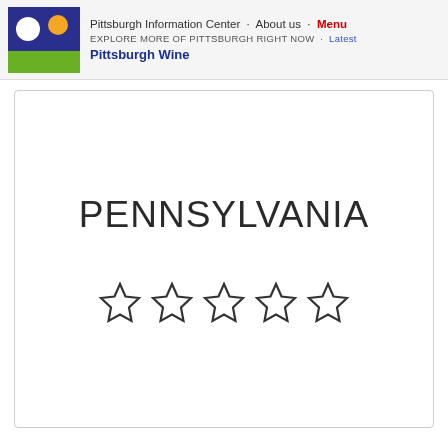Pittsburgh Information Center · About us · Menu | EXPLORE MORE OF PITTSBURGH RIGHT NOW · Latest | Pittsburgh Wine
[Figure (other): White card/box displaying the text PENNSYLVANIA in large letters and five empty star rating icons below it]
PENNSYLVANIA
[Figure (other): Five empty five-pointed star rating icons arranged horizontally]